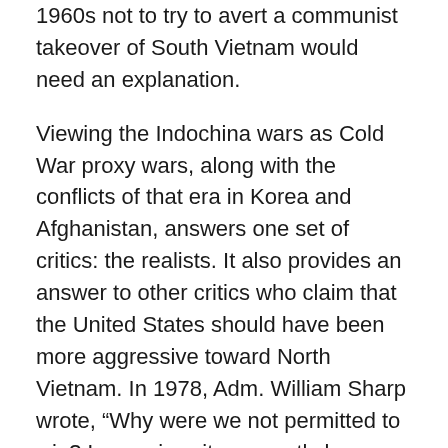1960s not to try to avert a communist takeover of South Vietnam would need an explanation.
Viewing the Indochina wars as Cold War proxy wars, along with the conflicts of that era in Korea and Afghanistan, answers one set of critics: the realists. It also provides an answer to other critics who claim that the United States should have been more aggressive toward North Vietnam. In 1978, Adm. William Sharp wrote, “Why were we not permitted to win? In my view, it was partly because political and diplomatic circles in Washington were disproportionately concerned with the possibility of Chinese and Soviet intervention.”
The late Col. Harry Summers Jr. argued that the United States allowed itself “to be bluffed by China throughout most of the war.”